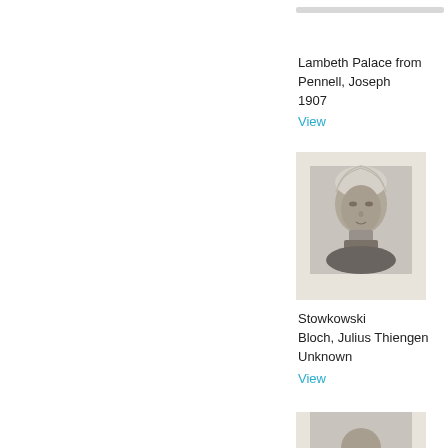[Figure (photo): Small grey bar at top right, partial UI element]
Lambeth Palace from
Pennell, Joseph
1907
View
[Figure (photo): Black and white portrait sketch/print of an elderly man with swept back white hair, facing slightly left, wearing a dark jacket. Portrait is on cream/beige paper background.]
Stowkowski
Bloch, Julius Thiengen
Unknown
View
[Figure (photo): Partial view of another portrait image at bottom of page, cropped]